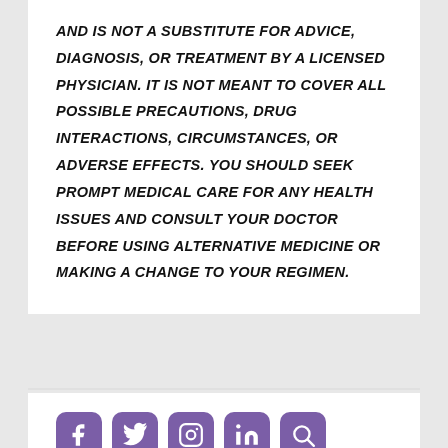AND IS NOT A SUBSTITUTE FOR ADVICE, DIAGNOSIS, OR TREATMENT BY A LICENSED PHYSICIAN. IT IS NOT MEANT TO COVER ALL POSSIBLE PRECAUTIONS, DRUG INTERACTIONS, CIRCUMSTANCES, OR ADVERSE EFFECTS. YOU SHOULD SEEK PROMPT MEDICAL CARE FOR ANY HEALTH ISSUES AND CONSULT YOUR DOCTOR BEFORE USING ALTERNATIVE MEDICINE OR MAKING A CHANGE TO YOUR REGIMEN.
[Figure (other): Row of five purple rounded-square social media icon buttons (Facebook, unknown, Instagram, LinkedIn/Twitter, Search/other) partially visible at bottom of page]